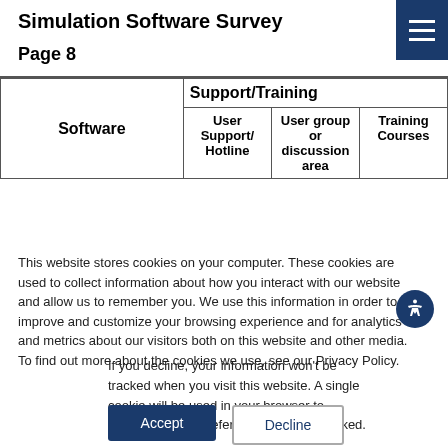Simulation Software Survey
Page 8
| Software | Support/Training — User Support/Hotline | Support/Training — User group or discussion area | Support/Training — Training Courses |
| --- | --- | --- | --- |
This website stores cookies on your computer. These cookies are used to collect information about how you interact with our website and allow us to remember you. We use this information in order to improve and customize your browsing experience and for analytics and metrics about our visitors both on this website and other media. To find out more about the cookies we use, see our Privacy Policy.
If you decline, your information won't be tracked when you visit this website. A single cookie will be used in your browser to remember your preference not to be tracked.